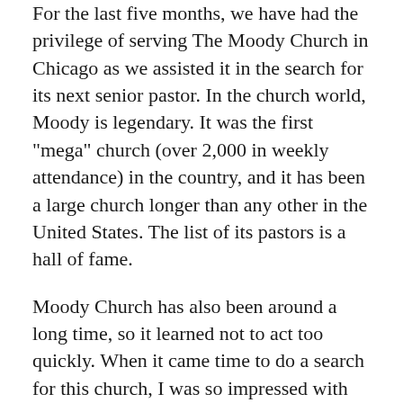For the last five months, we have had the privilege of serving The Moody Church in Chicago as we assisted it in the search for its next senior pastor. In the church world, Moody is legendary. It was the first "mega" church (over 2,000 in weekly attendance) in the country, and it has been a large church longer than any other in the United States. The list of its pastors is a hall of fame.
Moody Church has also been around a long time, so it learned not to act too quickly. When it came time to do a search for this church, I was so impressed with the thoroughness of its processes and patience to get it right. This isn't a church that moves hastily, nor is it one to adopt a new idea without thinking through it.
But once Moody had zeroed in on its top candidate—and now its pastor, Phillip Miller—the effects of COVID-19 had hit the U.S. and impacted travel and life in Chicago.
But once they came to an agreement with Moody about...